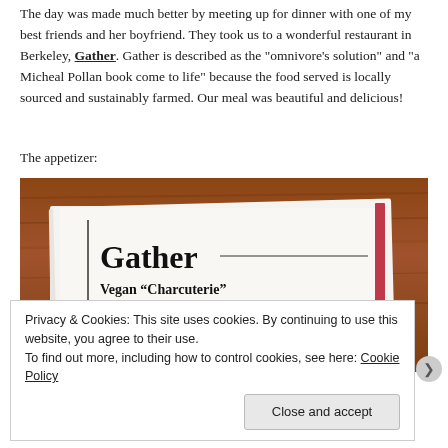The day was made much better by meeting up for dinner with one of my best friends and her boyfriend. They took us to a wonderful restaurant in Berkeley, Gather. Gather is described as the "omnivore's solution" and "a Micheal Pollan book come to life" because the food served is locally sourced and sustainably farmed. Our meal was beautiful and delicious!
The appetizer:
[Figure (photo): Photo of a restaurant menu from Gather restaurant showing the text 'Gather' in large bold serif font at the top, followed by 'Vegan "Charcuterie"' in bold, and below '-New Crop Onions – mushroom, black romesco, June Flower bean,' in smaller text. The menu is on a white card against a wooden table background, with a red ribbon/bookmark visible on the right side.]
Privacy & Cookies: This site uses cookies. By continuing to use this website, you agree to their use.
To find out more, including how to control cookies, see here: Cookie Policy
Close and accept